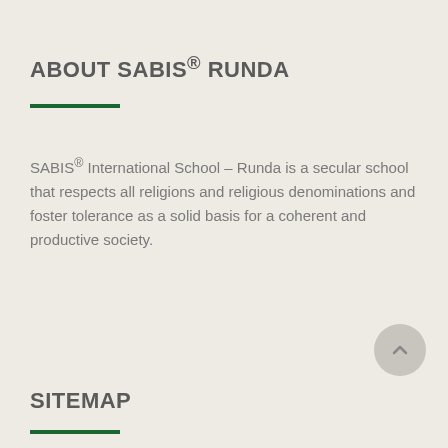ABOUT SABIS® RUNDA
SABIS® International School – Runda is a secular school that respects all religions and religious denominations and foster tolerance as a solid basis for a coherent and productive society.
SITEMAP